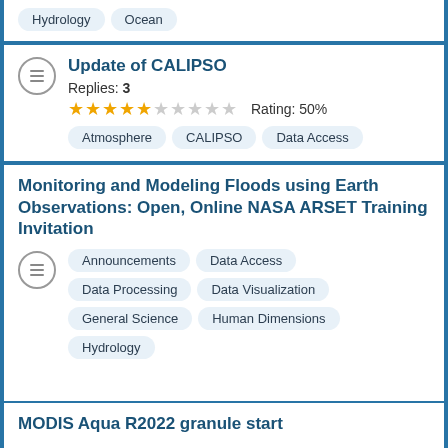Hydrology   Ocean
Update of CALIPSO
Replies: 3
★★★★☆☆☆☆☆☆ Rating: 50%
Atmosphere   CALIPSO   Data Access
Monitoring and Modeling Floods using Earth Observations: Open, Online NASA ARSET Training Invitation
Announcements   Data Access   Data Processing   Data Visualization   General Science   Human Dimensions   Hydrology
MODIS Aqua R2022 granule start